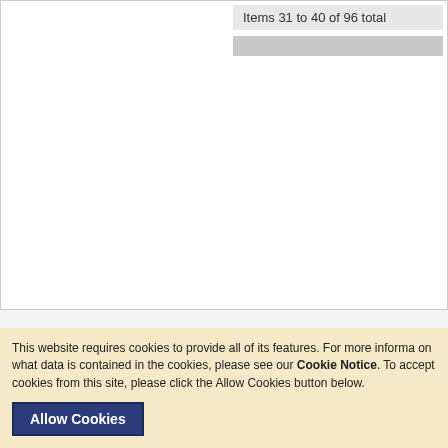Items 31 to 40 of 96 total
ABOUT Casemate Academic
About Us
Oxbow Books
Windgather Press
Featured Publishers
Bargains & Special Offers
CUSTOMER
FAQs & Help
Delivery
Terms and C
Privacy Poli
Cookie Polic
Trade Sales
Advanced Search | Site Map | Sea
Casemate Academic, 1950
This website requires cookies to provide all of its features. For more informa on what data is contained in the cookies, please see our Cookie Notice. To accept cookies from this site, please click the Allow Cookies button below.
Allow Cookies